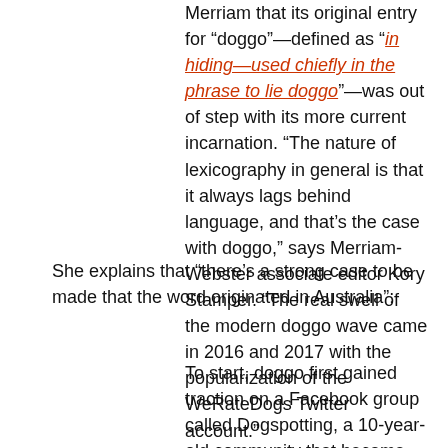Merriam that its original entry for “doggo”—defined as “in hiding—used chiefly in the phrase to lie doggo”—was out of step with its more current incarnation. “The nature of lexicography in general is that it always lags behind language, and that’s the case with doggo,” says Merriam-Webster associate editor Kory Stamper. “The real swell of the modern doggo wave came in 2016 and 2017 with the popularization of the WeRateDogs Twitter account.”
She explains that “there’s a strong case to be made that the word originated in Australia”:
To start, doggo first gained traction on a Facebook group called Dogspotting, a 10-year-old community that became quite popular in Australia, says internet linguist Gretchen McCulloch.